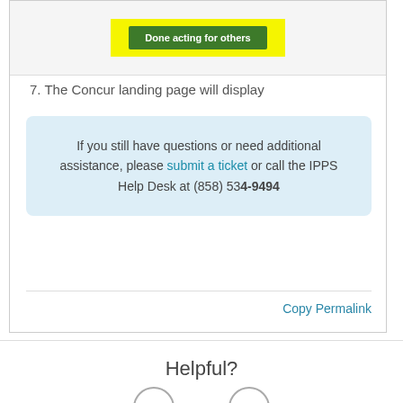[Figure (screenshot): Screenshot showing a yellow highlighted area with a green 'Done acting for others' button in the Concur interface.]
7. The Concur landing page will display
If you still have questions or need additional assistance, please submit a ticket or call the IPPS Help Desk at (858) 534-9494
Copy Permalink
Helpful?